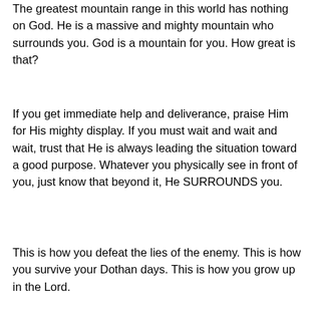The greatest mountain range in this world has nothing on God.  He is a massive and mighty mountain who surrounds you.  God is a mountain for you.  How great is that?
If you get immediate help and deliverance, praise Him for His mighty display.  If you must wait and wait and wait, trust that He is always leading the situation toward a good purpose.  Whatever you physically see in front of you, just know that beyond it, He SURROUNDS you.
This is how you defeat the lies of the enemy.  This is how you survive your Dothan days.  This is how you grow up in the Lord.
Thanks for reading.  Your comments and insights are always welcomed.  If you enjoyed this, please share it.  Want more content?  Check the archives or listen to me on